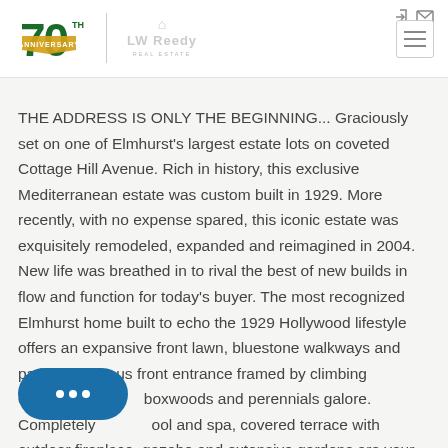LW Reedy Real Estate - 70th Anniversary
THE ADDRESS IS ONLY THE BEGINNING... Graciously set on one of Elmhurst's largest estate lots on coveted Cottage Hill Avenue. Rich in history, this exclusive Mediterranean estate was custom built in 1929. More recently, with no expense spared, this iconic estate was exquisitely remodeled, expanded and reimagined in 2004. New life was breathed in to rival the best of new builds in flow and function for today's buyer. The most recognized Elmhurst home built to echo the 1929 Hollywood lifestyle offers an expansive front lawn, bluestone walkways and patios, gorgeous front entrance framed by climbing clementis, boxwoods and perennials galore. Completely pool and spa, covered terrace with outdoor fireplace, gazebo and extensive gardens are your views. Once inside the